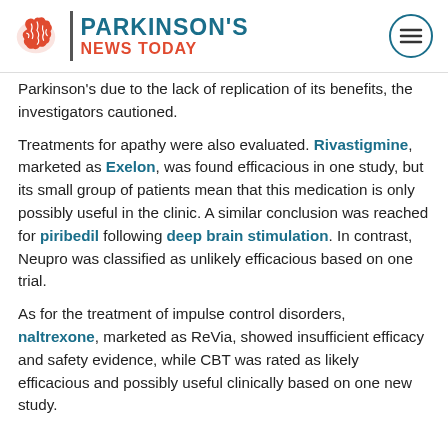PARKINSON'S NEWS TODAY
Parkinson's due to the lack of replication of its benefits, the investigators cautioned.
Treatments for apathy were also evaluated. Rivastigmine, marketed as Exelon, was found efficacious in one study, but its small group of patients mean that this medication is only possibly useful in the clinic. A similar conclusion was reached for piribedil following deep brain stimulation. In contrast, Neupro was classified as unlikely efficacious based on one trial.
As for the treatment of impulse control disorders, naltrexone, marketed as ReVia, showed insufficient efficacy and safety evidence, while CBT was rated as likely efficacious and possibly useful clinically based on one new study.